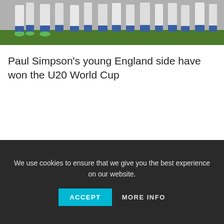[Figure (photo): Cropped photo showing the lower legs and feet of soccer players wearing white uniforms and blue socks, on a green grass pitch]
Paul Simpson's young England side have won the U20 World Cup
We use cookies to ensure that we give you the best experience on our website.
ACCEPT
MORE INFO